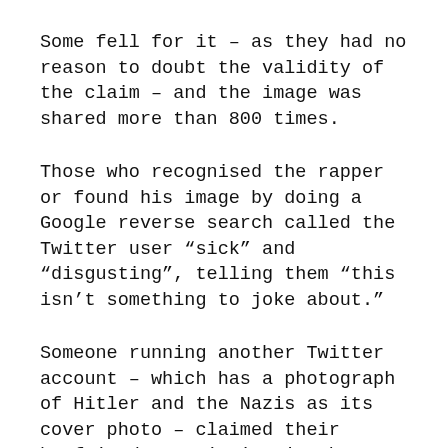Some fell for it – as they had no reason to doubt the validity of the claim – and the image was shared more than 800 times.
Those who recognised the rapper or found his image by doing a Google reverse search called the Twitter user “sick” and “disgusting”, telling them “this isn’t something to joke about.”
Someone running another Twitter account – which has a photograph of Hitler and the Nazis as its cover photo – claimed their boyfriend was missing in the attack.
The photograph they tweeted, of a young man with his face resting on his hand,